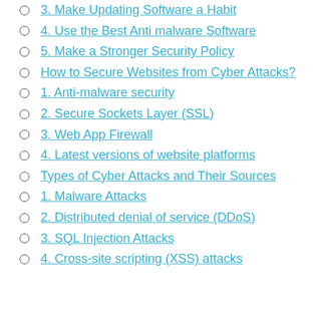3. Make Updating Software a Habit
4. Use the Best Anti malware Software
5. Make a Stronger Security Policy
How to Secure Websites from Cyber Attacks?
1. Anti-malware security
2. Secure Sockets Layer (SSL)
3. Web App Firewall
4. Latest versions of website platforms
Types of Cyber Attacks and Their Sources
1. Malware Attacks
2. Distributed denial of service (DDoS)
3. SQL Injection Attacks
4. Cross-site scripting (XSS) attacks